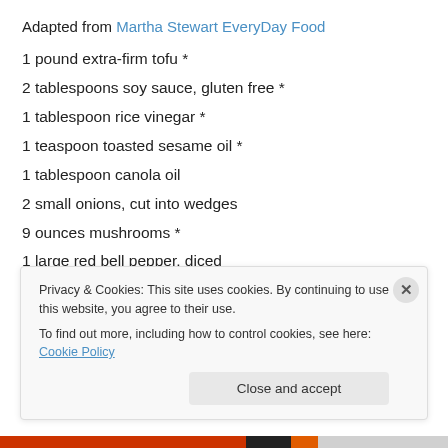Adapted from Martha Stewart EveryDay Food
1 pound extra-firm tofu *
2 tablespoons soy sauce, gluten free *
1 tablespoon rice vinegar *
1 teaspoon toasted sesame oil *
1 tablespoon canola oil
2 small onions, cut into wedges
9 ounces mushrooms *
1 large red bell pepper, diced
Privacy & Cookies: This site uses cookies. By continuing to use this website, you agree to their use. To find out more, including how to control cookies, see here: Cookie Policy